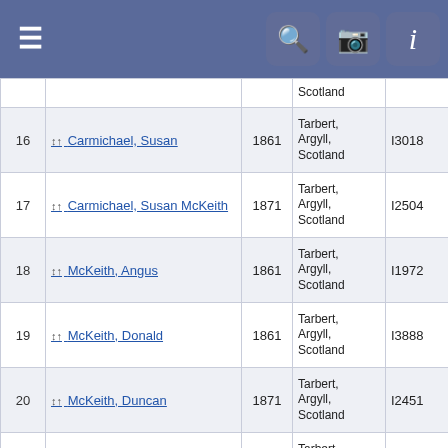Navigation bar with hamburger menu and icons for search, camera, info
| # | Name | Year | Place | ID | Links |
| --- | --- | --- | --- | --- | --- |
|  |  |  | Scotland |  | Hi... |
| 16 | Carmichael, Susan | 1861 | Tarbert, Argyll, Scotland | I3018 | Co... Fa... Hi... |
| 17 | Carmichael, Susan McKeith | 1871 | Tarbert, Argyll, Scotland | I2504 | Co... Fa... Hi... |
| 18 | McKeith, Angus | 1861 | Tarbert, Argyll, Scotland | I1972 | Co... Fa... Hi... |
| 19 | McKeith, Donald | 1861 | Tarbert, Argyll, Scotland | I3888 | Co... Fa... Hi... |
| 20 | McKeith, Duncan | 1871 | Tarbert, Argyll, Scotland | I2451 | Co... Fa... Hi... |
| 21 | McKeith, Elizabeth | 1871 | Tarbert, Argyll, Scotland | I2162 | Co... Fa... Hi... |
| 22 | McKeith, Hannah | 1861 | Tarbert, Argyll, Scotland | I799 | Co... Fa... Hi... |
| 23 | McKeith, John | 1871 | Tarbert, Argyll, | I395 | Fa... |